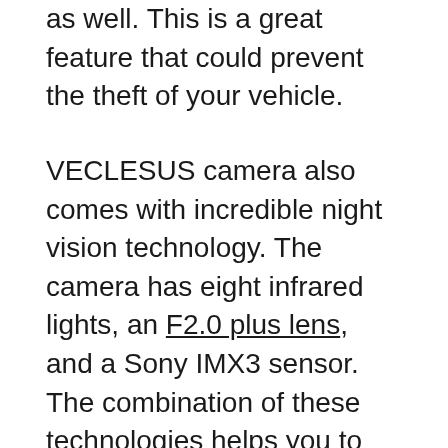as well. This is a great feature that could prevent the theft of your vehicle.
VECLESUS camera also comes with incredible night vision technology. The camera has eight infrared lights, an F2.0 plus lens, and a Sony IMX3 sensor. The combination of these technologies helps you to see things that you normally wouldn't see while driving at night, like an animal approaching the front of your car or something behind it while parking.
This camera is so easy to use. There are just four wires that need to be connected to your vehicle, plus connecting it to a 12-35-volt power source. The camera automatically turns off and on, as does